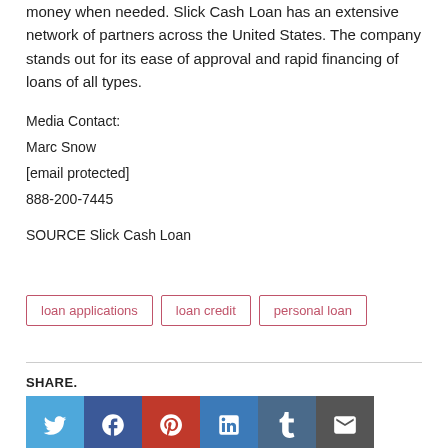money when needed. Slick Cash Loan has an extensive network of partners across the United States. The company stands out for its ease of approval and rapid financing of loans of all types.
Media Contact:
Marc Snow
[email protected]
888-200-7445
SOURCE Slick Cash Loan
loan applications
loan credit
personal loan
SHARE.